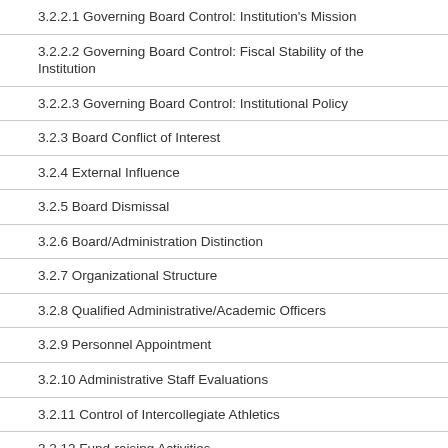3.2.2.1 Governing Board Control: Institution's Mission
3.2.2.2 Governing Board Control: Fiscal Stability of the Institution
3.2.2.3 Governing Board Control: Institutional Policy
3.2.3 Board Conflict of Interest
3.2.4 External Influence
3.2.5 Board Dismissal
3.2.6 Board/Administration Distinction
3.2.7 Organizational Structure
3.2.8 Qualified Administrative/Academic Officers
3.2.9 Personnel Appointment
3.2.10 Administrative Staff Evaluations
3.2.11 Control of Intercollegiate Athletics
3.2.12 Fund-raising Activities